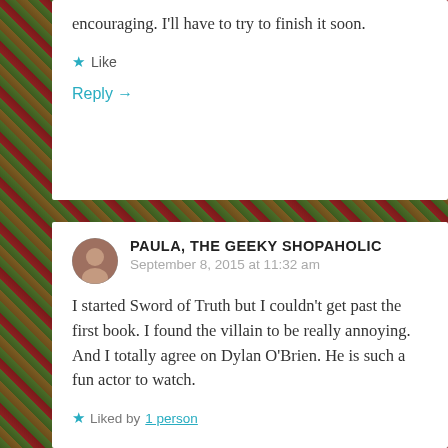encouraging. I'll have to try to finish it soon.
★ Like
Reply →
PAULA, THE GEEKY SHOPAHOLIC
September 8, 2015 at 11:32 am
I started Sword of Truth but I couldn't get past the first book. I found the villain to be really annoying. And I totally agree on Dylan O'Brien. He is such a fun actor to watch.
Liked by 1 person